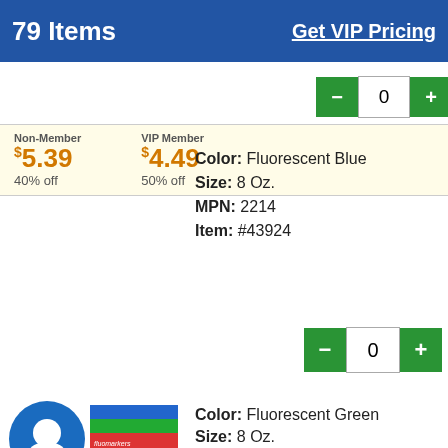79 Items   Get VIP Pricing
Non-Member $5.39 40% off   VIP Member $4.49 50% off
Color: Fluorescent Blue
Size: 8 Oz.
MPN: 2214
Item: #43924
Non-Member $3.49 40% off   VIP Member $2.95 50% off
Color: Fluorescent Green
Size: 8 Oz.
MPN: 2215
Item: #26979